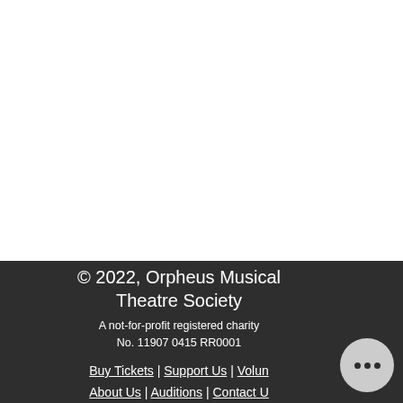© 2022, Orpheus Musical Theatre Society
A not-for-profit registered charity No. 11907 0415 RR0001
Buy Tickets | Support Us | Volun... | About Us | Auditions | Contact U...